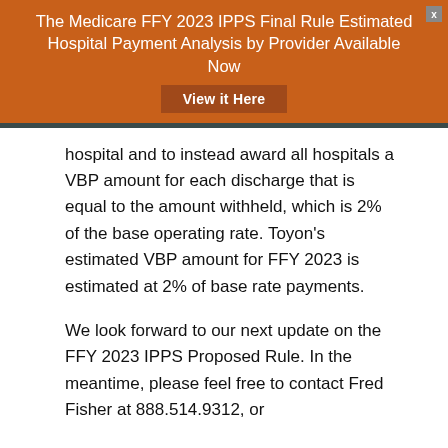The Medicare FFY 2023 IPPS Final Rule Estimated Hospital Payment Analysis by Provider Available Now
hospital and to instead award all hospitals a VBP amount for each discharge that is equal to the amount withheld, which is 2% of the base operating rate. Toyon's estimated VBP amount for FFY 2023 is estimated at 2% of base rate payments.
We look forward to our next update on the FFY 2023 IPPS Proposed Rule. In the meantime, please feel free to contact Fred Fisher at 888.514.9312, or